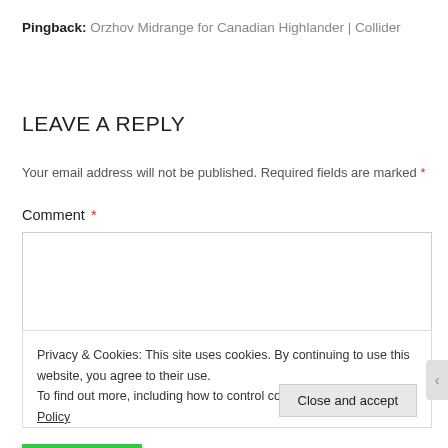Pingback: Orzhov Midrange for Canadian Highlander | Collider
LEAVE A REPLY
Your email address will not be published. Required fields are marked *
Comment *
Privacy & Cookies: This site uses cookies. By continuing to use this website, you agree to their use. To find out more, including how to control cookies, see here: Cookie Policy
Close and accept